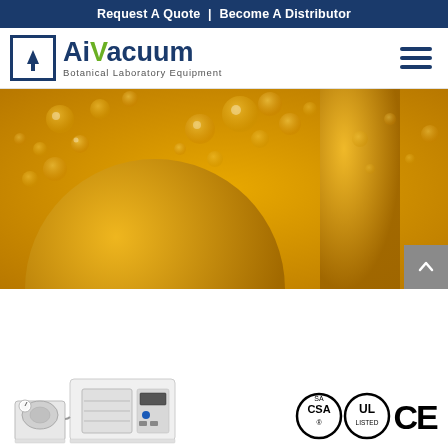Request A Quote | Become A Distributor
[Figure (logo): AiVacuum Botanical Laboratory Equipment logo with upward arrow icon in a square border]
[Figure (photo): Close-up macro photo of golden/amber liquid with bubbles and circular shapes, hero banner image]
[Figure (photo): Vacuum oven laboratory equipment product photo, white unit with attached pump]
[Figure (logo): Certification logos: CSA, UL, CE marks]